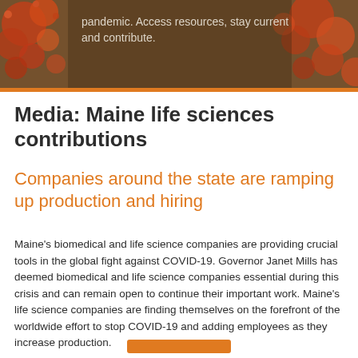[Figure (photo): Banner image showing coronavirus particles in orange/red tones on a dark brown background with overlaid text about the pandemic]
pandemic. Access resources, stay current and contribute.
Media: Maine life sciences contributions
Companies around the state are ramping up production and hiring
Maine's biomedical and life science companies are providing crucial tools in the global fight against COVID-19. Governor Janet Mills has deemed biomedical and life science companies essential during this crisis and can remain open to continue their important work. Maine's life science companies are finding themselves on the forefront of the worldwide effort to stop COVID-19 and adding employees as they increase production.